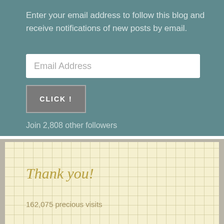Enter your email address to follow this blog and receive notifications of new posts by email.
Email Address
CLICK!
Join 2,808 other followers
Thank you!
162,075 precious visits